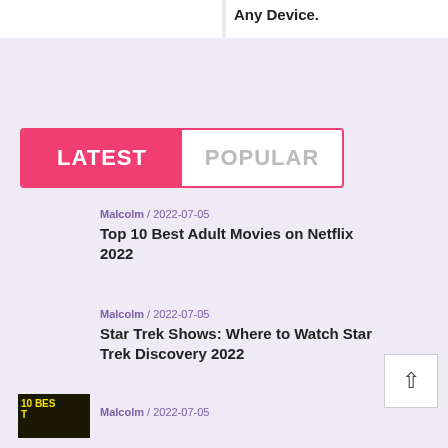Any Device.
[Figure (other): Tab navigation with LATEST (active, pink) and POPULAR (inactive, white) tabs]
Malcolm / 2022-07-05
Top 10 Best Adult Movies on Netflix 2022
Malcolm / 2022-07-05
Star Trek Shows: Where to Watch Star Trek Discovery 2022
Malcolm / 2022-07-05